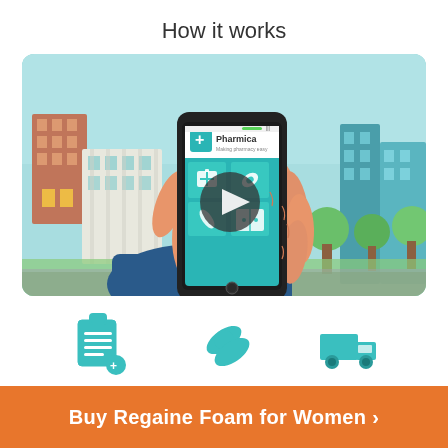How it works
[Figure (illustration): Animated video thumbnail showing a hand holding a smartphone with the Pharmica app open, with a play button overlay, set against a cartoon city background. The phone screen shows pharmacy app icons including a first aid kit, bandages, pills, and medicine.]
[Figure (illustration): Three teal icons at the bottom: a clipboard/prescription icon, a pills/capsule icon, and a delivery truck icon.]
Buy Regaine Foam for Women >